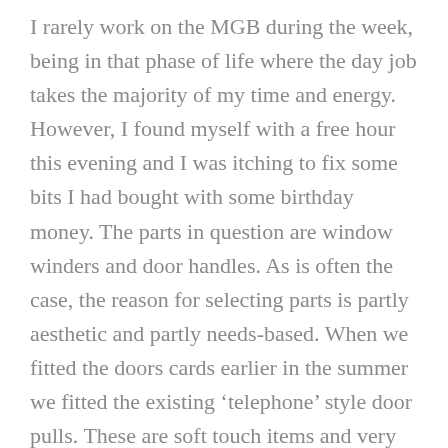I rarely work on the MGB during the week, being in that phase of life where the day job takes the majority of my time and energy. However, I found myself with a free hour this evening and I was itching to fix some bits I had bought with some birthday money. The parts in question are window winders and door handles. As is often the case, the reason for selecting parts is partly aesthetic and partly needs-based. When we fitted the doors cards earlier in the summer we fitted the existing ‘telephone’ style door pulls. These are soft touch items and very much of their time from the 1970s. Both handles were original and not in the best of shape although I did give them a bit of a scrub up. The one handle was in really poor shape and it barely lasted a couple of pulls before coming free of its fixing. As new units are quite expensive, I instead researched the after market and found an array of